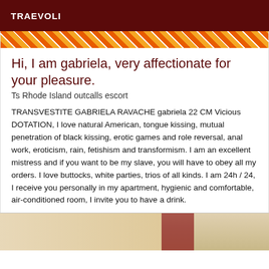TRAEVOLI
[Figure (photo): Decorative diagonal stripe banner in orange, red and white colors]
Hi, I am gabriela, very affectionate for your pleasure.
Ts Rhode Island outcalls escort
TRANSVESTITE GABRIELA RAVACHE gabriela 22 CM Vicious DOTATION, I love natural American, tongue kissing, mutual penetration of black kissing, erotic games and role reversal, anal work, eroticism, rain, fetishism and transformism. I am an excellent mistress and if you want to be my slave, you will have to obey all my orders. I love buttocks, white parties, trios of all kinds. I am 24h / 24, I receive you personally in my apartment, hygienic and comfortable, air-conditioned room, I invite you to have a drink.
[Figure (photo): Partial interior room photo showing warm beige tones with a decorative dark red element]